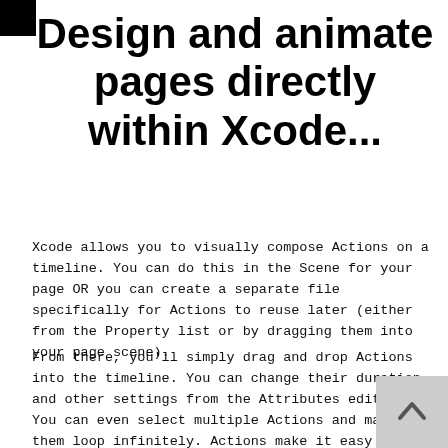Design and animate pages directly within Xcode...
Xcode allows you to visually compose Actions on a timeline. You can do this in the Scene for your page OR you can create a separate file specifically for Actions to reuse later (either from the Property list or by dragging them into your page scene).
From there, you'll simply drag and drop Actions into the timeline. You can change their duration and other settings from the Attributes editor . You can even select multiple Actions and make them loop infinitely. Actions make it easy to compose a series of sounds, or sequences of animations all without writing code or setting properties in the kit's Property List.
None of the moving elements in the example video on the right were set using properties in the kit's Property List. They are all